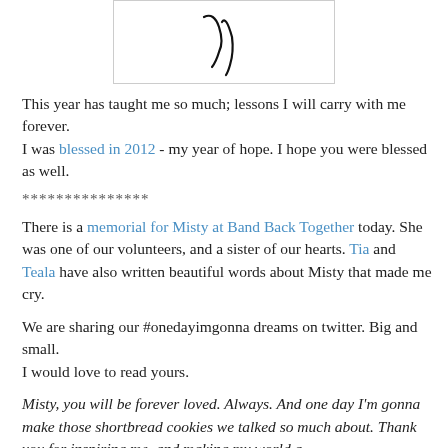[Figure (illustration): A handwritten signature or cursive script in black ink on white background, partially visible.]
This year has taught me so much; lessons I will carry with me forever.
I was blessed in 2012 - my year of hope. I hope you were blessed as well.
***************
There is a memorial for Misty at Band Back Together today. She was one of our volunteers, and a sister of our hearts. Tia and Teala have also written beautiful words about Misty that made me cry.
We are sharing our #onedayimgonna dreams on twitter. Big and small.
I would love to read yours.
Misty, you will be forever loved. Always. And one day I’m gonna make those shortbread cookies we talked so much about. Thank you for inspiring me, and making my world a